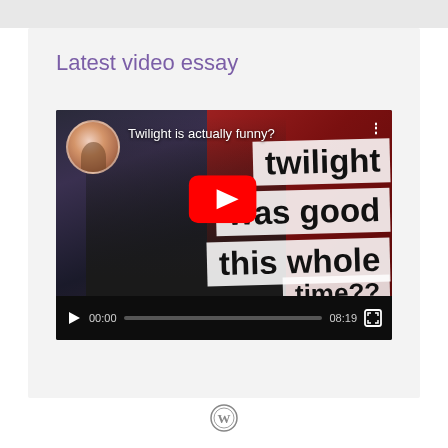Latest video essay
[Figure (screenshot): YouTube video player showing 'Twilight is actually funny?' video thumbnail with a woman's face on left side, text overlays reading 'twilight', 'was good', 'this whole', 'time??' on right side against red background, YouTube play button in center, video controls showing 00:00 / 08:19]
[Figure (logo): WordPress logo icon at bottom center]